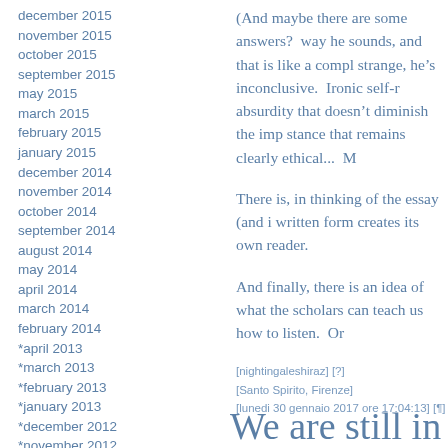december 2015
november 2015
october 2015
september 2015
may 2015
march 2015
february 2015
january 2015
december 2014
november 2014
october 2014
september 2014
august 2014
may 2014
april 2014
march 2014
february 2014
*april 2013
*march 2013
*february 2013
*january 2013
*december 2012
*november 2012
*october 2012
*september 2012
*july 2012
*october 2011
*september 2011
*august 2011
*july 2011
*june 2011
*may 2011
(And maybe there are some answers?  way he sounds, and that is like a compl strange, he’s inconclusive.  Ironic self-r absurdity that doesn’t diminish the imp stance that remains clearly ethical...  M
There is, in thinking of the essay (and i written form creates its own reader.
And finally, there is an idea of what the scholars can teach us how to listen.  Or
[nightingaleshiraz] [?]
[Santo Spirito, Firenze]
[lunedi 30 gennaio 2017 ore 17:04:13] [¶]
We are still in the midd